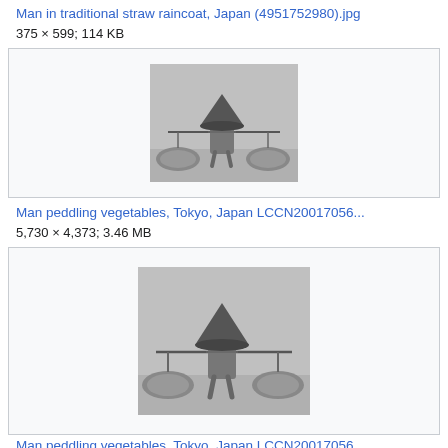Man in traditional straw raincoat, Japan (4951752980).jpg
375 × 599; 114 KB
[Figure (photo): Black and white photograph of a man in traditional straw raincoat carrying baskets on a pole, Japan]
Man peddling vegetables, Tokyo, Japan LCCN20017056...
5,730 × 4,373; 3.46 MB
[Figure (photo): Black and white photograph of a man peddling vegetables in Tokyo, Japan, carrying baskets with a shoulder pole]